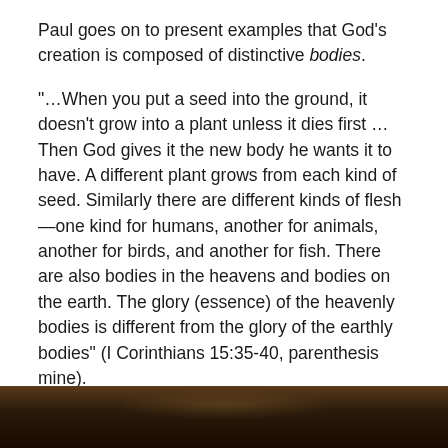Paul goes on to present examples that God's creation is composed of distinctive bodies.
“…When you put a seed into the ground, it doesn’t grow into a plant unless it dies first … Then God gives it the new body he wants it to have. A different plant grows from each kind of seed. Similarly there are different kinds of flesh—one kind for humans, another for animals, another for birds, and another for fish. There are also bodies in the heavens and bodies on the earth. The glory (essence) of the heavenly bodies is different from the glory of the earthly bodies” (I Corinthians 15:35-40, parenthesis mine).
The life-giving, life-changing subject that stands out more than any other in the New Testament (also referenced in the Old Testament) is none other than:
[Figure (photo): Dark photograph strip at the bottom of the page, partially visible, showing a dark nature or outdoor scene.]